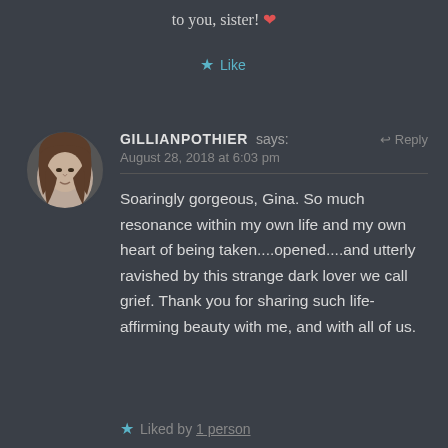to you, sister! ❤
★ Like
[Figure (photo): Circular avatar photo of a woman with curly brown hair, black and white style]
GILLIANPOTHIER says: ↩ Reply
August 28, 2018 at 6:03 pm
Soaringly gorgeous, Gina. So much resonance within my own life and my own heart of being taken....opened....and utterly ravished by this strange dark lover we call grief. Thank you for sharing such life-affirming beauty with me, and with all of us.
★ Liked by 1 person